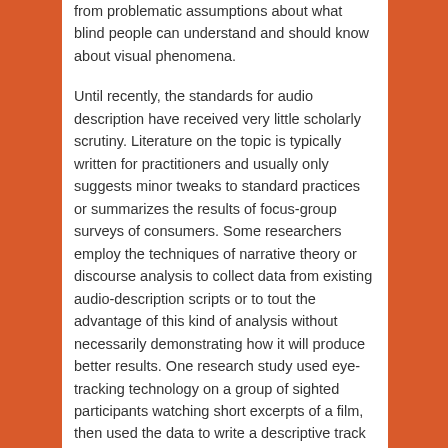from problematic assumptions about what blind people can understand and should know about visual phenomena.
Until recently, the standards for audio description have received very little scholarly scrutiny. Literature on the topic is typically written for practitioners and usually only suggests minor tweaks to standard practices or summarizes the results of focus-group surveys of consumers. Some researchers employ the techniques of narrative theory or discourse analysis to collect data from existing audio-description scripts or to tout the advantage of this kind of analysis without necessarily demonstrating how it will produce better results. One research study used eye-tracking technology on a group of sighted participants watching short excerpts of a film, then used the data to write a descriptive track and compared it to an existing audio description of the same film. Blind participants were then asked to evaluate the merits of the two descriptions. Even the researchers admitted that their findings were inconclusive, and that the expense of the technology makes further research of this kind impractical.